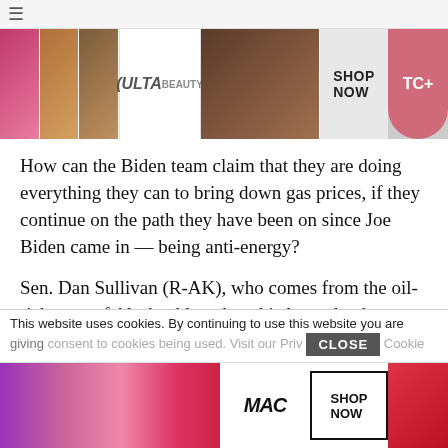[Figure (screenshot): Top navigation bar with hamburger menu icon and ULTA beauty advertisement banner with 'SHOP NOW' and 'TC+' button]
How can the Biden team claim that they are doing everything they can to bring down gas prices, if they continue on the path they have been on since Joe Biden came in — being anti-energy?
Sen. Dan Sullivan (R-AK), who comes from the oil-rich state of Alaska, blew the whistle on that by listing what the Biden Administration has done, just in the last three weeks that has impeded oil and gas production during his questioning of Energy Secretary Jennifer
[Figure (screenshot): Cookie consent bar reading 'This website uses cookies. By continuing to use this website you are giving consent to cookies being used. Visit our Priv... Cookie' with a CLOSE button]
[Figure (screenshot): Bottom MAC cosmetics advertisement with lipstick images, MAC logo, and 'SHOP NOW' button]